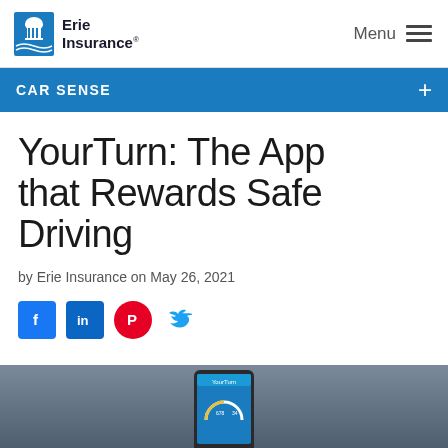Erie Insurance — Menu
CAR SENSE
YourTurn: The App that Rewards Safe Driving
by Erie Insurance on May 26, 2021
[Figure (other): Social media sharing icons: Facebook, LinkedIn, Pinterest, Twitter]
[Figure (photo): Partial view of a smartphone showing the YourTurn app interface, on a dark grey background]